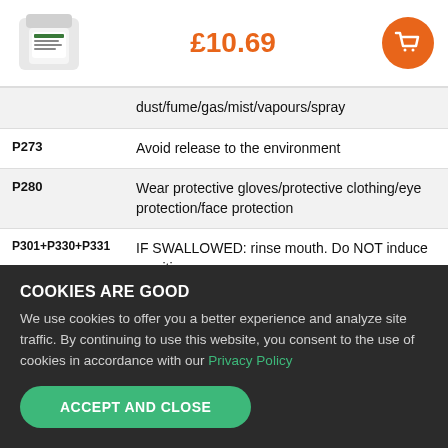[Figure (photo): Product image of a white container/jar on the left side of the header]
£10.69
[Figure (other): Orange circular shopping cart button]
|  | dust/fume/gas/mist/vapours/spray |
| P273 | Avoid release to the environment |
| P280 | Wear protective gloves/protective clothing/eye protection/face protection |
| P301+P330+P331 | IF SWALLOWED: rinse mouth. Do NOT induce vomiting |
COOKIES ARE GOOD
We use cookies to offer you a better experience and analyze site traffic. By continuing to use this website, you consent to the use of cookies in accordance with our Privacy Policy
ACCEPT AND CLOSE